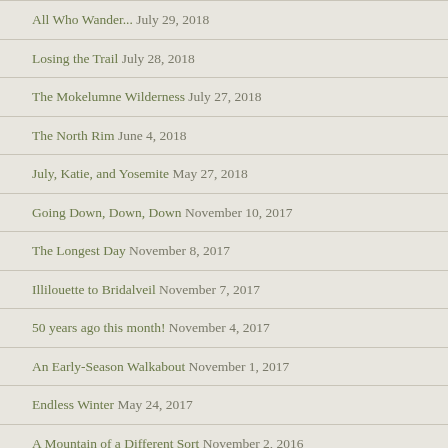All Who Wander... July 29, 2018
Losing the Trail July 28, 2018
The Mokelumne Wilderness July 27, 2018
The North Rim June 4, 2018
July, Katie, and Yosemite May 27, 2018
Going Down, Down, Down November 10, 2017
The Longest Day November 8, 2017
Illilouette to Bridalveil November 7, 2017
50 years ago this month! November 4, 2017
An Early-Season Walkabout November 1, 2017
Endless Winter May 24, 2017
A Mountain of a Different Sort November 2, 2016
Returning Home October 11, 2016
A Change in Accommodations September 2, 2016
9 Lakes Basin August 21, 2016